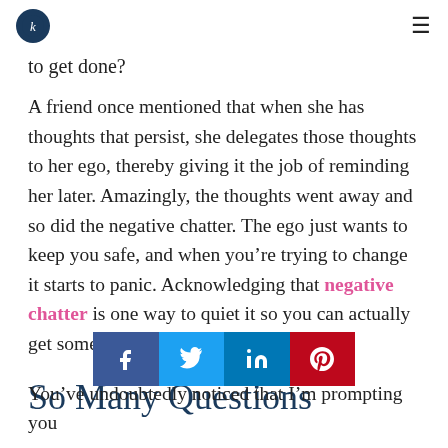[logo] [hamburger menu]
to get done?
A friend once mentioned that when she has thoughts that persist, she delegates those thoughts to her ego, thereby giving it the job of reminding her later. Amazingly, the thoughts went away and so did the negative chatter. The ego just wants to keep you safe, and when you’re trying to change it starts to panic. Acknowledging that negative chatter is one way to quiet it so you can actually get something accomplished.
So Many Questions
[Figure (infographic): Social share bar with Facebook, Twitter, LinkedIn, and Pinterest buttons]
You’ve undoubtedly noticed that I’m prompting you